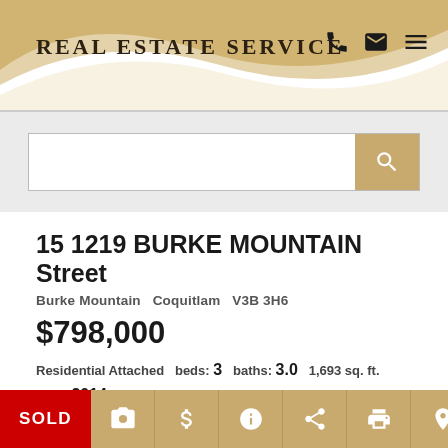Real Estate Service
[Figure (screenshot): Search bar with gold search button on grey background]
15 1219 BURKE MOUNTAIN Street
Burke Mountain   Coquitlam   V3B 3H6
$798,000
Residential Attached  beds: 3  baths: 3.0  1,693 sq. ft. built: 2014
SOLD OVER THE ASKING PRICE!
[Figure (infographic): Icon action row: SOLD badge in red, then gold icon buttons for camera, dollar, info, share, print, location pin]